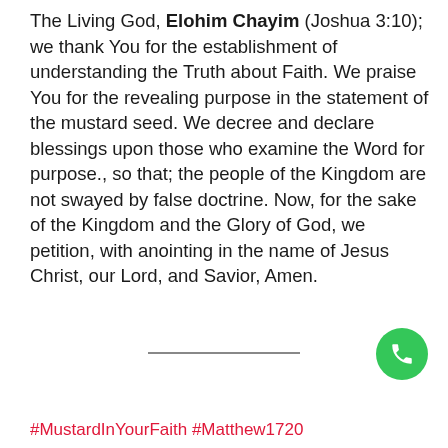The Living God, Elohim Chayim (Joshua 3:10); we thank You for the establishment of understanding the Truth about Faith. We praise You for the revealing purpose in the statement of the mustard seed. We decree and declare blessings upon those who examine the Word for purpose., so that; the people of the Kingdom are not swayed by false doctrine. Now, for the sake of the Kingdom and the Glory of God, we petition, with anointing in the name of Jesus Christ, our Lord, and Savior, Amen.
[Figure (other): Green circular phone/call button icon]
#MustardInYourFaith #Matthew1720